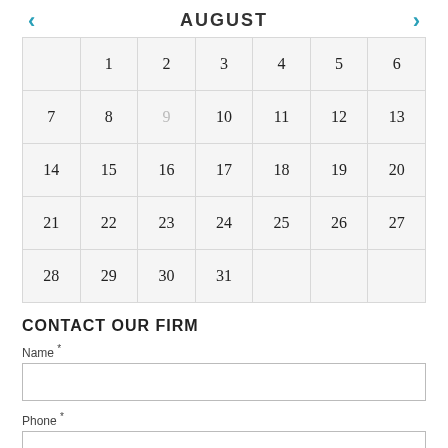AUGUST
|  | 1 | 2 | 3 | 4 | 5 | 6 |
| --- | --- | --- | --- | --- | --- | --- |
| 7 | 8 | 9 | 10 | 11 | 12 | 13 |
| 14 | 15 | 16 | 17 | 18 | 19 | 20 |
| 21 | 22 | 23 | 24 | 25 | 26 | 27 |
| 28 | 29 | 30 | 31 |  |  |  |
CONTACT OUR FIRM
Name *
Phone *
Email *